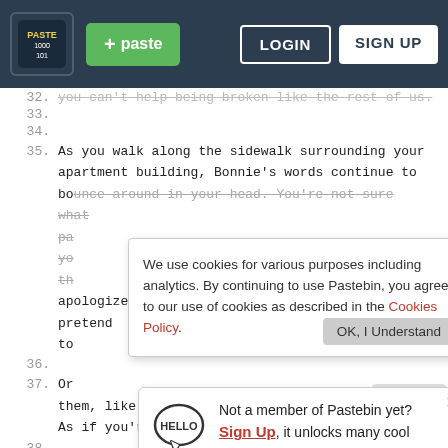paste | LOGIN | SIGN UP
32.   you can't help being broken like the rest of us.
33.
34.
35.  As you walk along the sidewalk surrounding your apartment building, Bonnie's words continue to bounce around in your head. You're not sure what pa... yo... th... apologize for who you are? Why should you pretend to
36.
37.  Or     them, like you're all in this together, somehow. As if you're one and the same.
38.
39.  "Broken like the rest of us."
We use cookies for various purposes including analytics. By continuing to use Pastebin, you agree to our use of cookies as described in the Cookies Policy. OK, I Understand
Not a member of Pastebin yet? Sign Up, it unlocks many cool features!